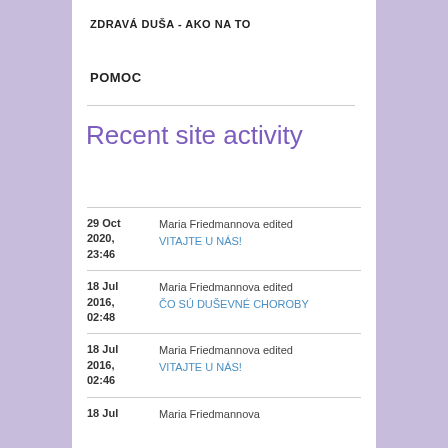ZDRAVÁ DUŠA - AKO NA TO
POMOC
Recent site activity
29 Oct 2020, 23:46 | Maria Friedmannova edited VITAJTE U NÁS!
18 Jul 2016, 02:48 | Maria Friedmannova edited ČO SÚ DUŠEVNÉ CHOROBY
18 Jul 2016, 02:46 | Maria Friedmannova edited VITAJTE U NÁS!
18 Jul | Maria Friedmannova